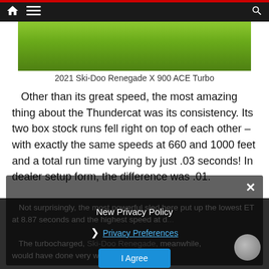[Figure (photo): Green grass/field photo, top portion visible — 2021 Ski-Doo Renegade X 900 ACE Turbo]
2021 Ski-Doo Renegade X 900 ACE Turbo
Other than its great speed, the most amazing thing about the Thundercat was its consistency. Its two box stock runs fell right on top of each other – with exactly the same speeds at 660 and 1000 feet and a total run time varying by just .03 seconds! In dealer setup form, the difference was .01.
Not surprisingly, the most powerful sled here put up the lowest ET at 8.87 seconds and the highest speed at d...
The turbocharged, Ski-Doo Renegade, meanwhile, would have done very well in the 80...
[Figure (screenshot): Privacy policy modal overlay with 'New Privacy Policy' title, Privacy Preferences link, and I Agree button]